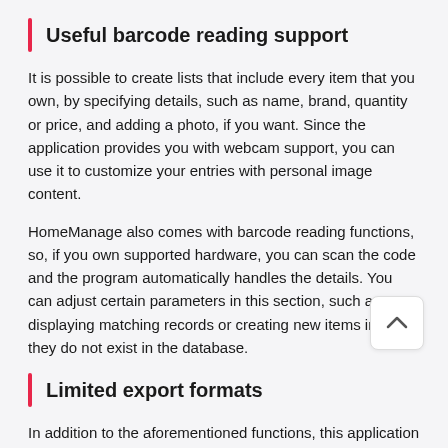Useful barcode reading support
It is possible to create lists that include every item that you own, by specifying details, such as name, brand, quantity or price, and adding a photo, if you want. Since the application provides you with webcam support, you can use it to customize your entries with personal image content.
HomeManage also comes with barcode reading functions, so, if you own supported hardware, you can scan the code and the program automatically handles the details. You can adjust certain parameters in this section, such as displaying matching records or creating new items in case they do not exist in the database.
Limited export formats
In addition to the aforementioned functions, this application